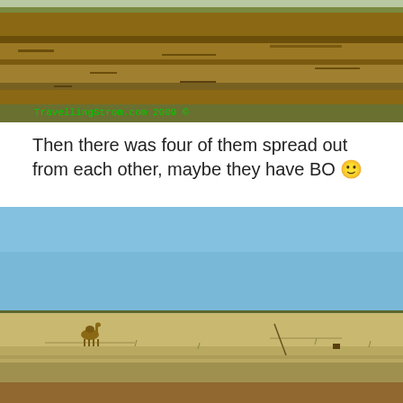[Figure (photo): Arid landscape with dry brown soil and sparse grass/scrub vegetation, watermark text 'TravellingStrom.com 2009 ©' in green monospace font at bottom-left]
Then there was four of them spread out from each other, maybe they have BO 🙂
[Figure (photo): Wide flat arid grassland/steppe landscape under a blue sky, with a camel visible in the middle-left distance, and sparse dry vegetation]